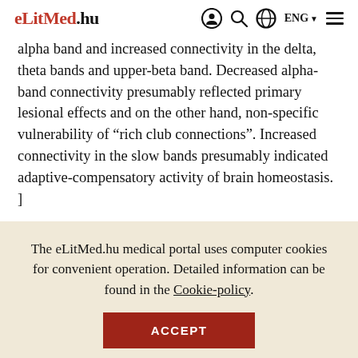eLitMed.hu  ENG
alpha band and increased connectivity in the delta, theta bands and upper-beta band. Decreased alpha-band connectivity presumably reflected primary lesional effects and on the other hand, non-specific vulnerability of “rich club connections”. Increased connectivity in the slow bands presumably indicated adaptive-compensatory activity of brain homeostasis. ]
The eLitMed.hu medical portal uses computer cookies for convenient operation. Detailed information can be found in the Cookie-policy.
ACCEPT